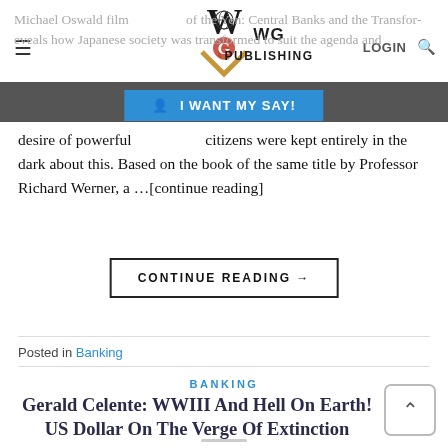[Figure (logo): WG Publishing logo with decorative emblem and text]
Michael Oswald film of the Yen: Central Banks and the Transformation... reveals how Japanese society was transformed to suit the agenda and desire of powerful... citizens were kept entirely in the dark about this. Based on the book of the same title by Professor Richard Werner, a ...[continue reading]
CONTINUE READING →
Posted in Banking
BANKING
Gerald Celente: WWIII And Hell On Earth! US Dollar On The Verge Of Extinction